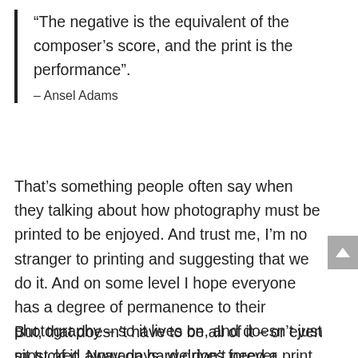“The negative is the equivalent of the composer’s score, and the print is the performance”.
– Ansel Adams
That’s something people often say when they talking about how photography must be printed to be enjoyed. And trust me, I’m no stranger to printing and suggesting that we do it. And on some level I hope everyone has a degree of permanence to their photography – so it lives on, and doesn’t just sit tucked away on hard drives forever.
But, that doesn’t have to be all of it – or even most of it. Nowadays, we don’t need a print